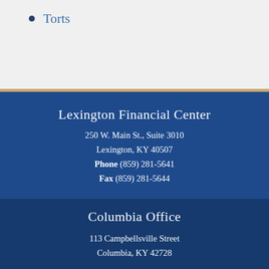Torts
Lexington Financial Center
250 W. Main St., Suite 3010
Lexington, KY 40507
Phone (859) 281-5641
Fax (859) 281-5644
Columbia Office
113 Campbellsville Street
Columbia, KY 42728